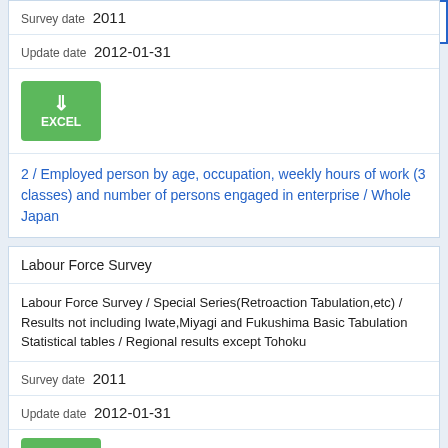Survey date  2011
Update date  2012-01-31
[Figure (other): EXCEL download button (green button with download arrow icon and text EXCEL)]
2 / Employed person by age, occupation, weekly hours of work (3 classes) and number of persons engaged in enterprise / Whole Japan
Labour Force Survey
Labour Force Survey / Special Series(Retroaction Tabulation,etc) / Results not including Iwate,Miyagi and Fukushima Basic Tabulation Statistical tables / Regional results except Tohoku
Survey date  2011
Update date  2012-01-31
[Figure (other): EXCEL download button (green button with download arrow icon, partially visible)]